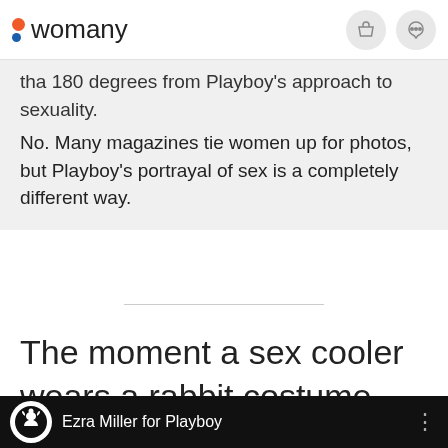womany
tha 180 degrees from Playboy's approach to sexuality.
No. Many magazines tie women up for photos, but Playboy's portrayal of sex is a completely different way.
The moment a sex cooler wears a rabbit costume
Ezra Miller for Playboy